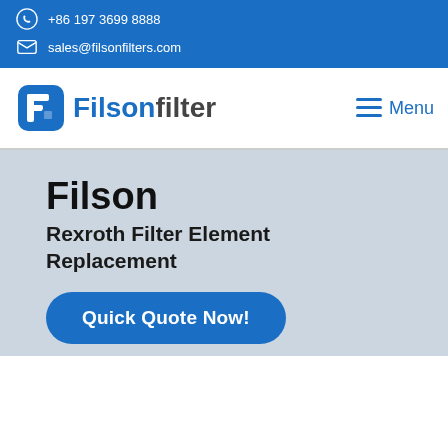+86 197 3699 8888
sales@filsonfilters.com
[Figure (logo): Filson Filter logo with blue shield-like icon and text 'FilsonFilter']
Menu
Filson
Rexroth Filter Element Replacement
Quick Quote Now!